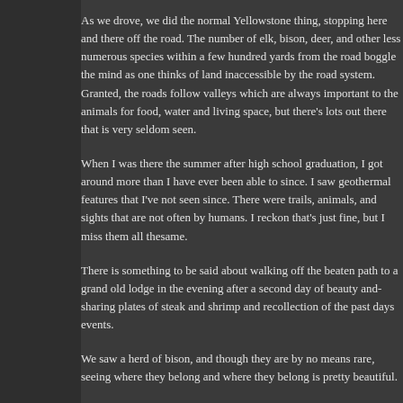As we drove, we did the normal Yellowstone thing, stopping here and there off the road. The number of elk, bison, deer, and other less numerous species within a few hundred yards from the road boggle the mind as one thinks of land inaccessible by the road system. Granted, the roads follow valleys which are always important to the animals for food, water and living space, but there's lots out there that is very seldom seen.
When I was there the summer after high school graduation, I got around more than I have ever been able to since. I saw geothermal features that I've not seen since. There were trails, animals, and sights that are not often by humans. I reckon that's just fine, but I miss them all the same.
There is something to be said about walking off the beaten path to a grand old lodge in the evening after a second day of beauty and sharing plates of steak and shrimp and recollection of the past days events.
We saw a herd of bison, and though they are by no means rare, seeing where they belong and where they belong is pretty beautiful.
[Figure (photo): A broken/unloaded image thumbnail showing a small image placeholder icon with a green and yellow triangle graphic]